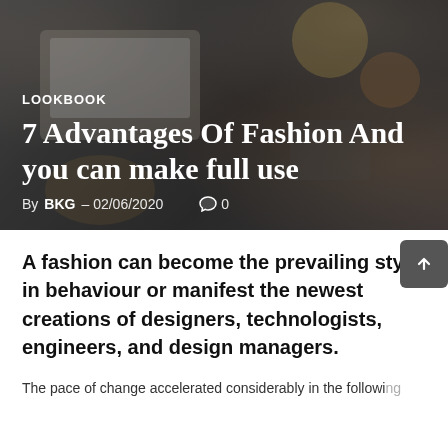[Figure (photo): Hero image: overhead desk flatlay with laptop, design sketches, flowers, and accessories, with dark overlay]
LOOKBOOK
7 Advantages Of Fashion And you can make full use
By BKG - 02/06/2020   0
A fashion can become the prevailing style in behaviour or manifest the newest creations of designers, technologists, engineers, and design managers.
The pace of change accelerated considerably in the following